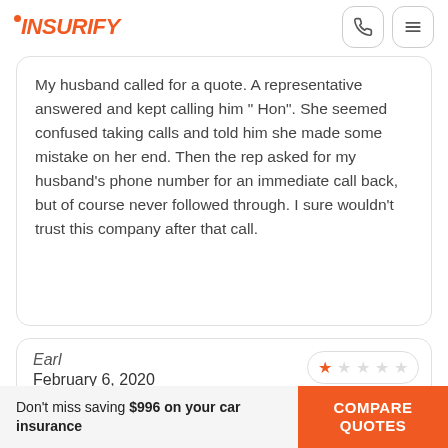INSURIFY
My husband called for a quote. A representative answered and kept calling him " Hon". She seemed confused taking calls and told him she made some mistake on her end. Then the rep asked for my husband's phone number for an immediate call back, but of course never followed through. I sure wouldn't trust this company after that call.
Earl
February 6, 2020
tonya harding and thatB.H. from Texas Really
Don't miss saving $996 on your car insurance